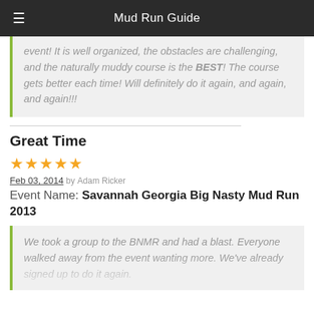Mud Run Guide
event! It is well organized, the obstacles are challenging, and the naturally muddy course is the BEST! The course gets better each time! Will definitely do it again, and again, and again!!!
Great Time
Feb 03, 2014 by Adam Ricker
Event Name: Savannah Georgia Big Nasty Mud Run 2013
We took a group to the BNMR and had a blast. Everyone walked away from the event wanting more. We've already signed up to do it again.